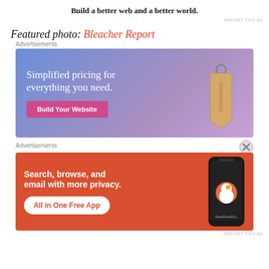Build a better web and a better world.
REPORT THIS AD
Featured photo: Bleacher Report
Advertisements
[Figure (screenshot): Advertisement for website builder: 'Simplified pricing for everything you need.' with a pink 'Build Your Website' button and a price tag graphic on a blue-purple gradient background.]
[Figure (other): Close/dismiss button (X in circle)]
Advertisements
[Figure (screenshot): DuckDuckGo advertisement on orange background: 'Search, browse, and email with more privacy. All in One Free App' with a phone showing the DuckDuckGo app.]
REPORT THIS AD